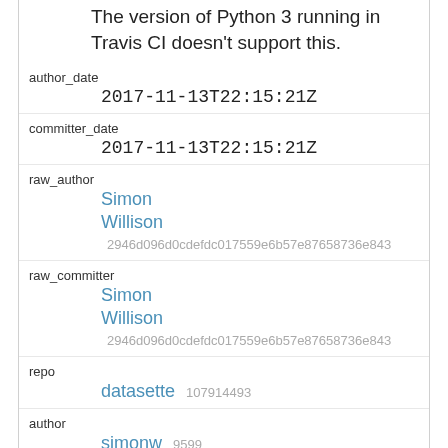The version of Python 3 running in Travis CI doesn't support this.
| field | value |
| --- | --- |
| author_date | 2017-11-13T22:15:21Z |
| committer_date | 2017-11-13T22:15:21Z |
| raw_author | Simon
Willison 2946d096d0cdefdc017559e6b57e87658736e843 |
| raw_committer | Simon
Willison 2946d096d0cdefdc017559e6b57e87658736e843 |
| repo | datasette 107914493 |
| author | simonw 9599 |
| committer | simonw 9599 |
| field | value |
| --- | --- |
| sha | d75f422b6fefe074b7a6f9f7679da0076f101add |